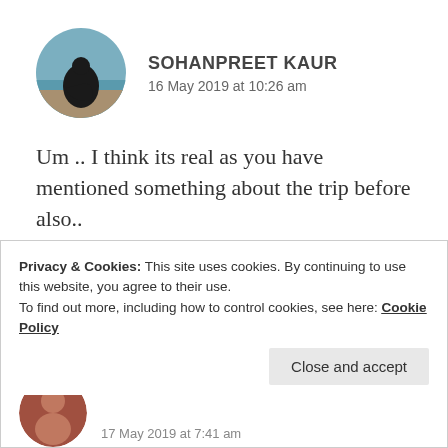[Figure (photo): Circular profile photo of Sohanpreet Kaur showing a person in dark clothing sitting on a beach with sea and sky in background]
SOHANPREET KAUR
16 May 2019 at 10:26 am
Um .. I think its real as you have mentioned something about the trip before also..
★ Liked by 2 people
Privacy & Cookies: This site uses cookies. By continuing to use this website, you agree to their use.
To find out more, including how to control cookies, see here: Cookie Policy
Close and accept
[Figure (photo): Partial circular profile photo at the bottom of the page, partially cut off, showing a person]
17 May 2019 at 7:41 am